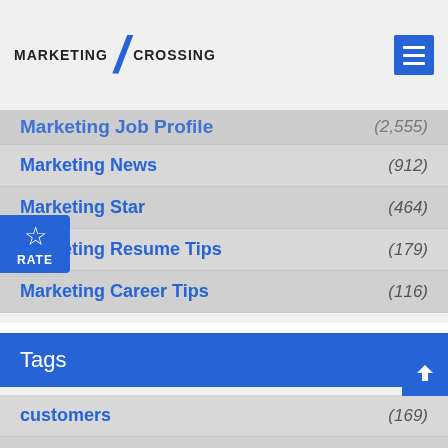MARKETING CROSSING
Marketing Job Profile (2,555)
Marketing News (912)
Marketing Star (464)
Marketing Resume Tips (179)
Marketing Career Tips (116)
Tags
customers (169)
consumers (146)
advertising (128)
United States (127)
industry (103)
Internet (95)